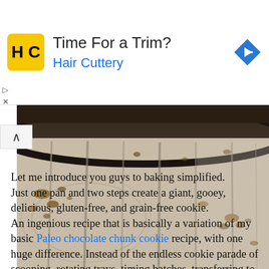[Figure (infographic): Hair Cuttery advertisement banner with yellow HC logo, title 'Time For a Trim?', subtitle 'Hair Cuttery' in blue, and a blue diamond navigation arrow icon on the right. Play and X controls on the left side.]
[Figure (photo): Close-up photo of a dark baking pan on a weathered wooden surface with scattered crumbs or food particles around it.]
Let me introduce you guys to baking simplified. Just one pan and two steps create a giant, gooey, delicious, gluten-free, and grain-free cookie. An ingenious recipe that is basically a variation of my basic Paleo chocolate chunk cookie recipe, with one huge difference. Instead of the endless cookie parade of scooping, rotating trays, timing batches, transferring to cooling racks, and all the other tasks associated with baking